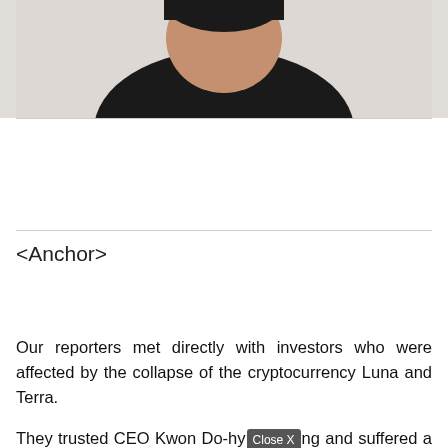[Figure (photo): Photo of a person wearing a dark/black shirt, upper body and head visible, light background]
<Anchor>
Our reporters met directly with investors who were affected by the collapse of the cryptocurrency Luna and Terra.
They trusted CEO Kwon Do-hyung and suffered a greater loss, and said that the cryptocurrency exchanges were also